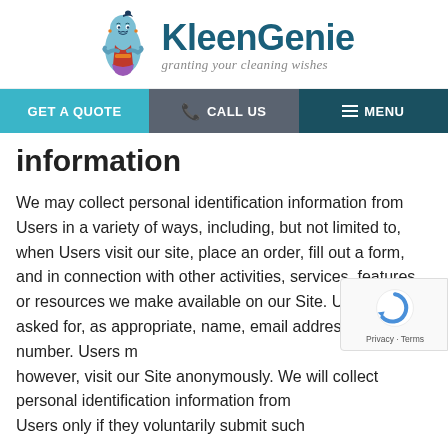[Figure (logo): KleenGenie logo with genie mascot character and text 'granting your cleaning wishes']
GET A QUOTE | CALL US | MENU
information
We may collect personal identification information from Users in a variety of ways, including, but not limited to, when Users visit our site, place an order, fill out a form, and in connection with other activities, services, features or resources we make available on our Site. Users may be asked for, as appropriate, name, email address, phone number. Users may, however, visit our Site anonymously. We will collect personal identification information from Users only if they voluntarily submit such